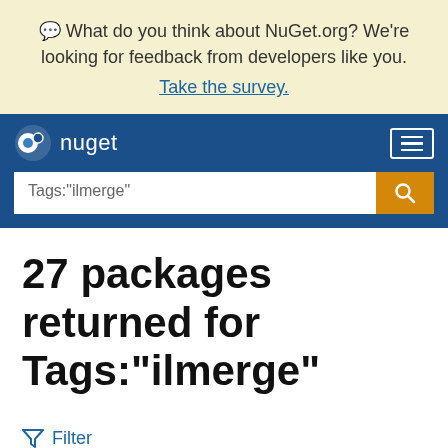💬 What do you think about NuGet.org? We're looking for feedback from developers like you. Take the survey.
[Figure (logo): NuGet logo and navigation bar with search field containing Tags:"ilmerge"]
27 packages returned for Tags:"ilmerge"
Filter